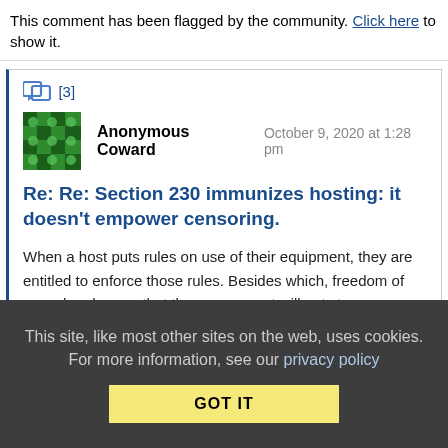This comment has been flagged by the community. Click here to show it.
[3]
Anonymous Coward   October 9, 2020 at 1:28 pm
Re: Re: Section 230 immunizes hosting: it doesn't empower censoring.
When a host puts rules on use of their equipment, they are entitled to enforce those rules. Besides which, freedom of speech only says that the government will not stop you publishing your speech, but does NOT include anything that
This site, like most other sites on the web, uses cookies. For more information, see our privacy policy
GOT IT